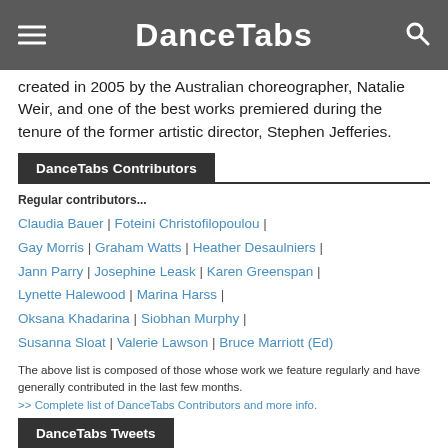DanceTabs
created in 2005 by the Australian choreographer, Natalie Weir, and one of the best works premiered during the tenure of the former artistic director, Stephen Jefferies.
DanceTabs Contributors
Regular contributors...
Claudia Bauer | Foteini Christofilopoulou | Gay Morris | Graham Watts | Heather Desaulniers | Jann Parry | Josephine Leask | Karen Greenspan | Lynette Halewood | Marina Harss | Oksana Khadarina | Siobhan Murphy | Susanna Sloat | Valerie Lawson | Bruce Marriott (Ed)
The above list is composed of those whose work we feature regularly and have generally contributed in the last few months.
>> Complete list of DanceTabs Contributors and more info.
DanceTabs Tweets